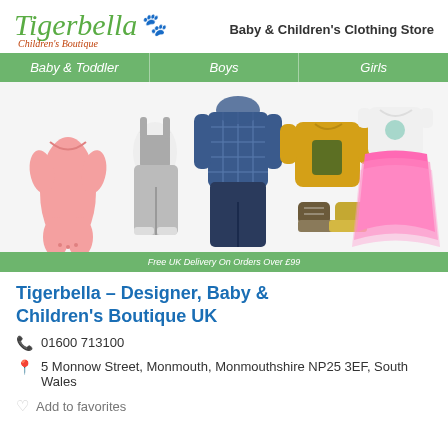[Figure (logo): Tigerbella Children's Boutique logo with paw print icon in green cursive font]
Baby & Children's Clothing Store
[Figure (infographic): Navigation bar with three sections: Baby & Toddler, Boys, Girls on green background]
[Figure (photo): Children's clothing products displayed: pink onesie, grey dungarees, plaid shirt with jeans, yellow animal top with boots, pink tutu dress]
Free UK Delivery On Orders Over £99
Tigerbella – Designer, Baby & Children's Boutique UK
📞 01600 713100
📍 5 Monnow Street, Monmouth, Monmouthshire NP25 3EF, South Wales
♡ Add to favorites